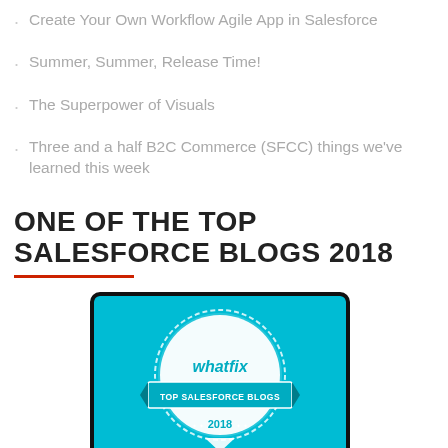Create Your Own Workflow Agile App in Salesforce
Summer, Summer, Release Time!
The Superpower of Visuals
Three and a half B2C Commerce (SFCC) things we've learned this week
ONE OF THE TOP SALESFORCE BLOGS 2018
[Figure (illustration): Whatfix Top Salesforce Blogs 2018 badge displayed on a laptop screen with teal background. The badge is a circular seal with the text 'whatfix TOP SALESFORCE BLOGS 2018'.]